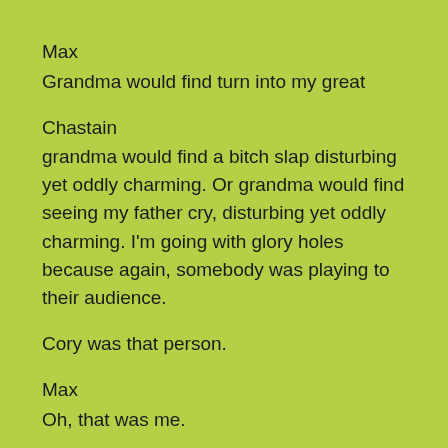Max
Grandma would find turn into my great
Chastain
grandma would find a bitch slap disturbing yet oddly charming. Or grandma would find seeing my father cry, disturbing yet oddly charming. I'm going with glory holes because again, somebody was playing to their audience.
Cory was that person.
Max
Oh, that was me.
Yes, we're winning out here.